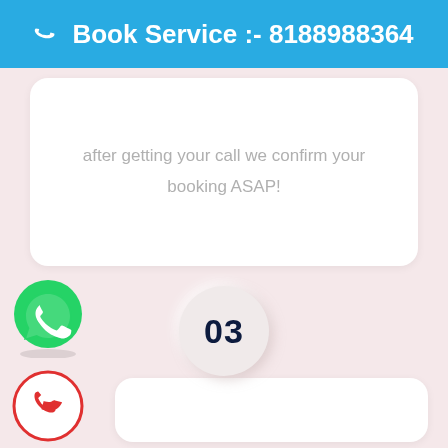📞 Book Service :- 8188988364
after getting your call we confirm your booking ASAP!
03
[Figure (other): WhatsApp green icon button at bottom left]
[Figure (other): Red phone call icon button at bottom left]